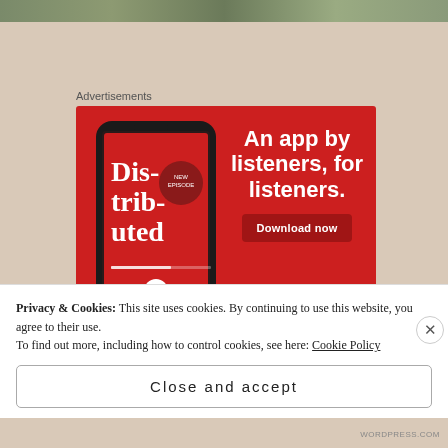[Figure (photo): Top strip showing partial image with green/nature tones]
Advertisements
[Figure (infographic): Red advertisement banner for a podcast app showing a smartphone with 'Dis-tri-bu-ted' podcast app and text: An app by listeners, for listeners. Download now button.]
Privacy & Cookies: This site uses cookies. By continuing to use this website, you agree to their use.
To find out more, including how to control cookies, see here: Cookie Policy
Close and accept